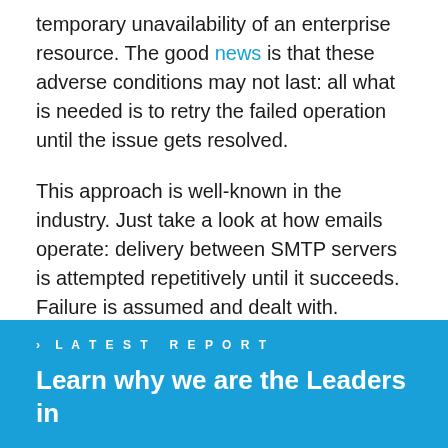temporary unavailability of an enterprise resource. The good news is that these adverse conditions may not last: all what is needed is to retry the failed operation until the issue gets resolved.
This approach is well-known in the industry. Just take a look at how emails operate: delivery between SMTP servers is attempted repetitively until it succeeds. Failure is assumed and dealt with. Following the same principles, we're happy to introduce the Until Successful routing message processor.
> LATEST REPORT
Learn why we are the Leaders in